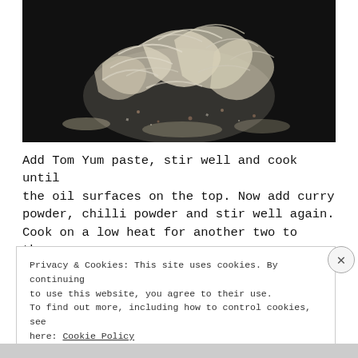[Figure (photo): Close-up photo of sliced onions being stir-fried in a black pan or wok, with spices scattered around on a dark background.]
Add Tom Yum paste, stir well and cook until the oil surfaces on the top. Now add curry powder, chilli powder and stir well again. Cook on a low heat for another two to three
Privacy & Cookies: This site uses cookies. By continuing to use this website, you agree to their use.
To find out more, including how to control cookies, see here: Cookie Policy
Close and accept